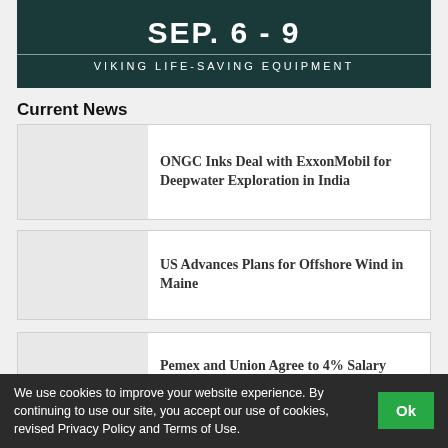[Figure (illustration): Event banner with dark teal/navy textured background showing 'SEP. 6 - 9' in large white bold text and 'VIKING LIFE-SAVING EQUIPMENT' subtitle]
Current News
ONGC Inks Deal with ExxonMobil for Deepwater Exploration in India
US Advances Plans for Offshore Wind in Maine
Pemex and Union Agree to 4% Salary Increase
We use cookies to improve your website experience. By continuing to use our site, you accept our use of cookies, revised Privacy Policy and Terms of Use.